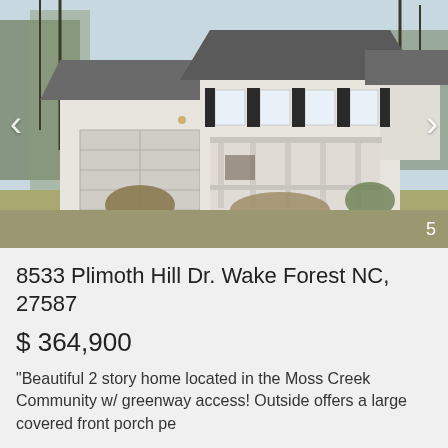[Figure (photo): Exterior photo of a 2-story white colonial-style home with dark shutters, covered front porch, attached 2-car garage, concrete driveway, and bare trees in background. Photo navigation arrows on left and right sides. Photo number '5' in bottom right corner.]
8533 Plimoth Hill Dr. Wake Forest NC, 27587
$ 364,900
"Beautiful 2 story home located in the Moss Creek Community w/ greenway access! Outside offers a large covered front porch pe